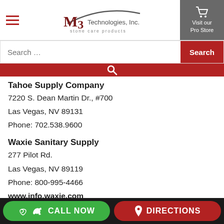[Figure (logo): M3 Technologies, Inc. stone care products logo with arc above text]
[Figure (screenshot): Shopping cart icon with Visit our Pro Store text on gray background]
[Figure (screenshot): Search bar with Search button and red search bar below]
Tahoe Supply Company
7220 S. Dean Martin Dr., #700
Las Vegas, NV 89131
Phone: 702.538.9600
Waxie Sanitary Supply
277 Pilot Rd.
Las Vegas, NV 89119
Phone: 800-995-4466
www.info.waxie.com
New Jersey
CALL NOW
DIRECTIONS